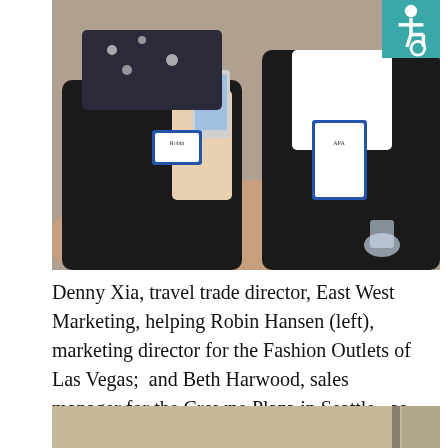[Figure (photo): Two people sitting at a table at a conference. The person on the left holds a smartphone and wears a conference badge. The person on the right also wears a conference badge and dark jacket.]
Denny Xia, travel trade director, East West Marketing, helping Robin Hansen (left), marketing director for the Fashion Outlets of Las Vegas;  and Beth Harwood, sales manager for the Crowne Plaza in Seattle,  as they try to better understand how to use WeChat.
[Figure (photo): Bottom portion of another photo, showing what appears to be an interior setting with light-colored walls.]